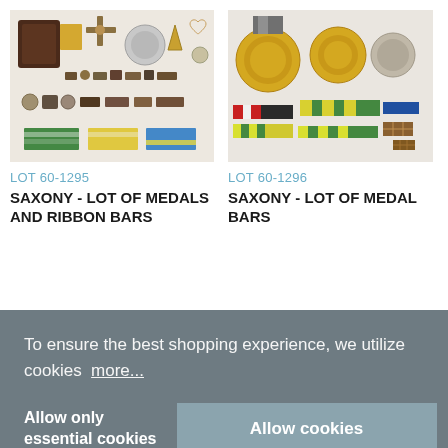[Figure (photo): Photo of a collection of military medals, crosses, and ribbon bars from Saxony, arranged on a white background. Includes a dark box, round medals, cross medals, small pins, and green/yellow ribbon bars.]
[Figure (photo): Photo of a collection of Saxony military medal bars and medals on a white background. Includes large round gold medals, ribbon bars in green/yellow/blue/striped patterns.]
LOT 60-1295
LOT 60-1296
SAXONY - LOT OF MEDALS AND RIBBON BARS
SAXONY - LOT OF MEDAL BARS
To ensure the best shopping experience, we utilize cookies  more...
Allow only essential cookies
Allow cookies
vailable